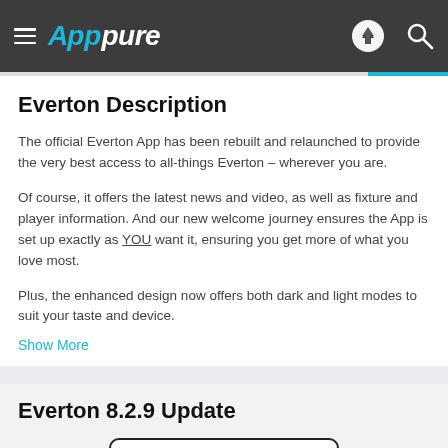Apppure
Everton Description
The official Everton App has been rebuilt and relaunched to provide the very best access to all-things Everton – wherever you are.
Of course, it offers the latest news and video, as well as fixture and player information. And our new welcome journey ensures the App is set up exactly as YOU want it, ensuring you get more of what you love most.
Plus, the enhanced design now offers both dark and light modes to suit your taste and device.
Show More
Everton 8.2.9 Update
[Figure (other): Download on the App Store badge button]